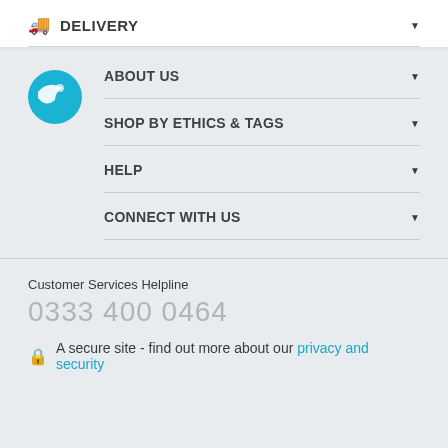DELIVERY
ABOUT US
SHOP BY ETHICS & TAGS
HELP
CONNECT WITH US
Customer Services Helpline
0333 400 0464
A secure site - find out more about our privacy and security